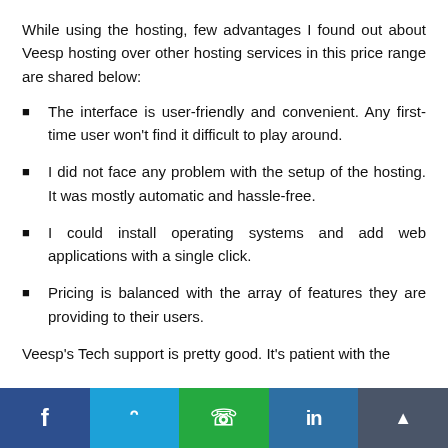While using the hosting, few advantages I found out about Veesp hosting over other hosting services in this price range are shared below:
The interface is user-friendly and convenient. Any first-time user won't find it difficult to play around.
I did not face any problem with the setup of the hosting. It was mostly automatic and hassle-free.
I could install operating systems and add web applications with a single click.
Pricing is balanced with the array of features they are providing to their users.
Veesp's Tech support is pretty good. It's patient with the
Facebook | Twitter | WhatsApp | LinkedIn | Share